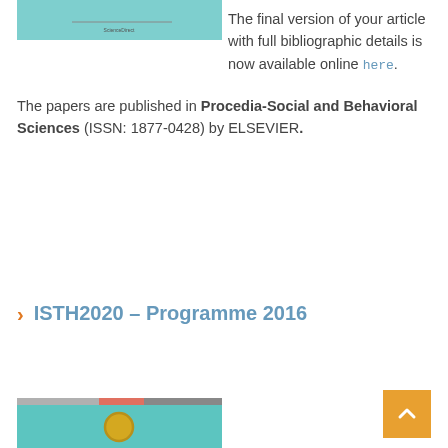[Figure (screenshot): Thumbnail image with teal/cyan background and small text lines, resembling a ScienceDirect journal cover or page preview]
The final version of your article with full bibliographic details is now available online here.
The papers are published in Procedia-Social and Behavioral Sciences (ISSN: 1877-0428) by ELSEVIER.
ISTH2020 – Programme 2016
[Figure (screenshot): Bottom thumbnail showing teal background with a gold/yellow circular emblem, with a grey-pink-teal horizontal bar at top]